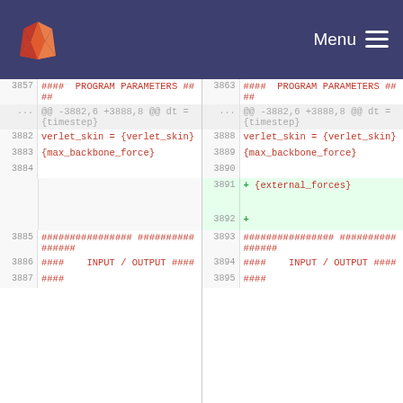GitLab Menu
| line-old | code-old | line-new | code-new |
| --- | --- | --- | --- |
| 3857 | #### PROGRAM PARAMETERS #### | 3863 | #### PROGRAM PARAMETERS #### |
| ... | @@ -3882,6 +3888,8 @@ dt = {timestep} | ... | @@ -3882,6 +3888,8 @@ dt = {timestep} |
| 3882 | verlet_skin = {verlet_skin} | 3888 | verlet_skin = {verlet_skin} |
| 3883 | {max_backbone_force} | 3889 | {max_backbone_force} |
| 3884 |  | 3890 |  |
|  |  | 3891 | + {external_forces} |
|  |  | 3892 | + |
| 3885 | ################ ################ | 3893 | ################ ################ |
| 3886 | #### INPUT / OUTPUT #### | 3894 | #### INPUT / OUTPUT #### |
| 3887 | ################ | 3895 | ################ |